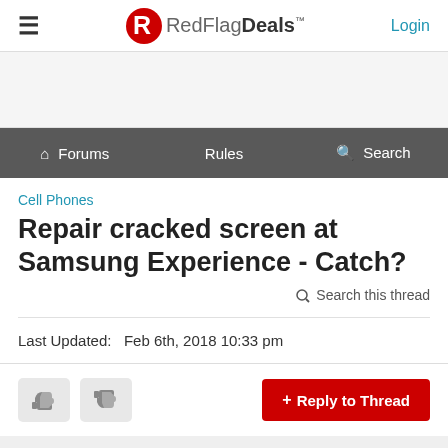RedFlagDeals™  Login
[Figure (logo): RedFlagDeals logo with red R icon and RedFlagDeals™ wordmark]
Forums  Rules  Search
Cell Phones
Repair cracked screen at Samsung Experience - Catch?
Search this thread
Last Updated:   Feb 6th, 2018 10:33 pm
+ Reply to Thread